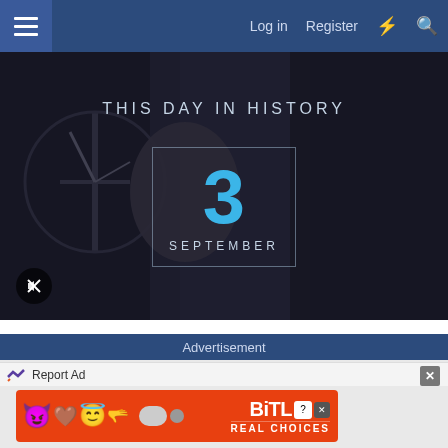Log in  Register
[Figure (screenshot): This Day in History hero banner showing the date September 3 with a large cyan '3' in a bordered box over a dark collage background of people]
Advertisement
Report Ad
[Figure (illustration): BitLife app advertisement banner with emojis (devil, girl, angel) on red background with BitLife logo and 'REAL CHOICES' text]